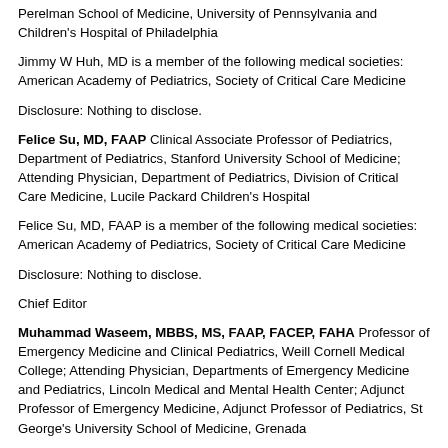Perelman School of Medicine, University of Pennsylvania and Children's Hospital of Philadelphia
Jimmy W Huh, MD is a member of the following medical societies: American Academy of Pediatrics, Society of Critical Care Medicine
Disclosure: Nothing to disclose.
Felice Su, MD, FAAP Clinical Associate Professor of Pediatrics, Department of Pediatrics, Stanford University School of Medicine; Attending Physician, Department of Pediatrics, Division of Critical Care Medicine, Lucile Packard Children's Hospital
Felice Su, MD, FAAP is a member of the following medical societies: American Academy of Pediatrics, Society of Critical Care Medicine
Disclosure: Nothing to disclose.
Chief Editor
Muhammad Waseem, MBBS, MS, FAAP, FACEP, FAHA Professor of Emergency Medicine and Clinical Pediatrics, Weill Cornell Medical College; Attending Physician, Departments of Emergency Medicine and Pediatrics, Lincoln Medical and Mental Health Center; Adjunct Professor of Emergency Medicine, Adjunct Professor of Pediatrics, St George's University School of Medicine, Grenada
Muhammad Waseem, MBBS, MS, FAAP, FACEP, FAHA is a member of the following medical societies: American Academy of Pediatrics, American Academy of Urgent Care Medicine, American College of Emergency Physicians, American heart Association, Medical Association...